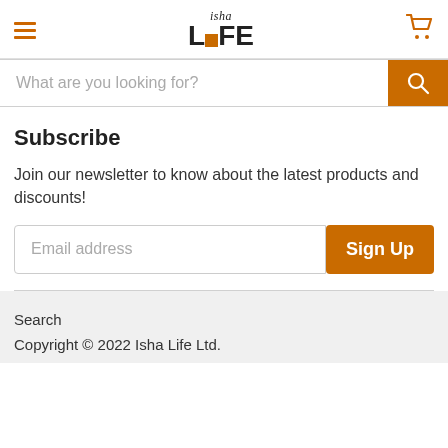[Figure (logo): Isha Life logo with hamburger menu icon on left and shopping cart icon on right]
What are you looking for?
Subscribe
Join our newsletter to know about the latest products and discounts!
Email address
Sign Up
Search
Copyright © 2022 Isha Life Ltd.